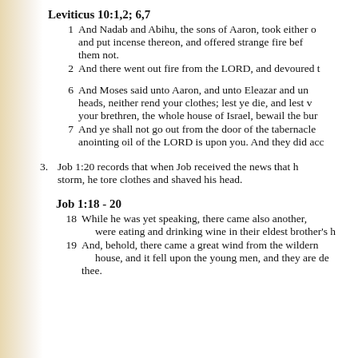Leviticus 10:1,2; 6,7
1   And Nadab and Abihu, the sons of Aaron, took either of his censers, and put incense thereon, and offered strange fire before the LORD, which he commanded them not.
2   And there went out fire from the LORD, and devoured them, and they died before the LORD.
6   And Moses said unto Aaron, and unto Eleazar and unto Ithamar, his sons, Uncover not your heads, neither rend your clothes; lest ye die, and lest wrath come upon all the people: but let your brethren, the whole house of Israel, bewail the burning which the LORD hath kindled.
7   And ye shall not go out from the door of the tabernacle of the congregation, lest ye die: for the anointing oil of the LORD is upon you. And they did according to the word of Moses.
3.  Job 1:20 records that when Job received the news that his children had died in a storm, he tore clothes and shaved his head.
Job 1:18 - 20
18 While he was yet speaking, there came also another, and said, Thy sons and thy daughters were eating and drinking wine in their eldest brother's house:
19 And, behold, there came a great wind from the wilderness, and smote the four corners of the house, and it fell upon the young men, and they are dead; and I only am escaped alone to tell thee.